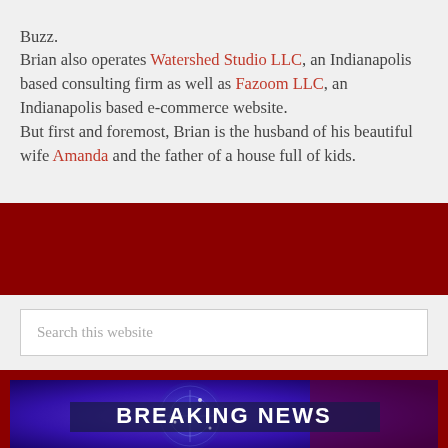Buzz. Brian also operates Watershed Studio LLC, an Indianapolis based consulting firm as well as Fazoom LLC, an Indianapolis based e-commerce website. But first and foremost, Brian is the husband of his beautiful wife Amanda and the father of a house full of kids.
Search this website
[Figure (photo): Breaking News broadcast graphic with blue and purple globe/radar imagery and large white text reading BREAKING NEWS]